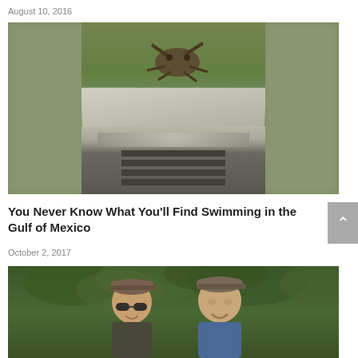August 10, 2016
[Figure (photo): A crab or creature on top of a white truck hood, surrounded by blurred green foliage background]
You Never Know What You'll Find Swimming in the Gulf of Mexico
October 2, 2017
[Figure (photo): Two men smiling outdoors in front of green trees/vegetation]